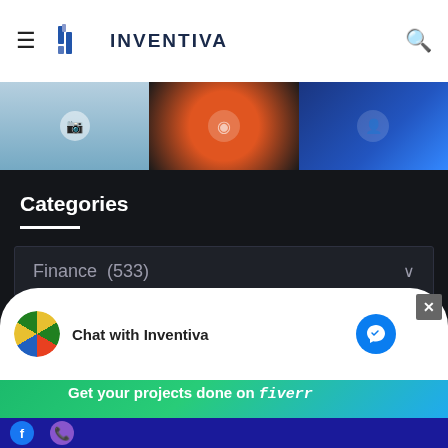INVENTIVA
[Figure (screenshot): Image strip showing three partially visible article thumbnail images with camera and avatar icons]
Categories
Finance  (533)
inventiva_300x600
Tags
[Figure (screenshot): Chat with Inventiva messenger overlay and Fiverr green banner: Working from home? Get your projects done on fiverr]